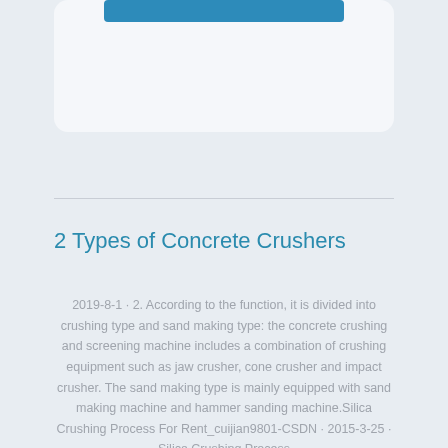[Figure (other): Card with blue bar element at top of page, partially visible]
2 Types of Concrete Crushers
2019-8-1 · 2. According to the function, it is divided into crushing type and sand making type: the concrete crushing and screening machine includes a combination of crushing equipment such as jaw crusher, cone crusher and impact crusher. The sand making type is mainly equipped with sand making machine and hammer sanding machine.Silica Crushing Process For Rent_cuijian9801-CSDN · 2015-3-25 · Silica Crushing Process